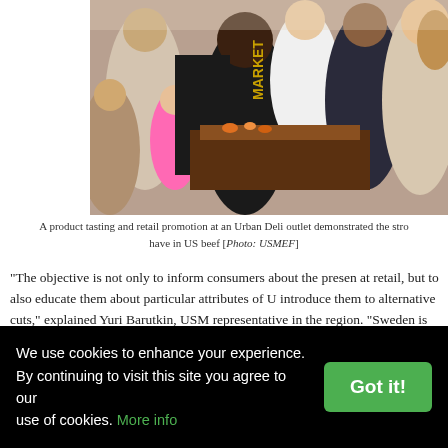[Figure (photo): A crowd of shoppers at a market or deli retail outlet, with people of various ages browsing food products. A sign partially reading 'MARKET' is visible in the background.]
A product tasting and retail promotion at an Urban Deli outlet demonstrated the strong interest consumers have in US beef [Photo: USMEF]
"The objective is not only to inform consumers about the presence of US beef at retail, but to also educate them about particular attributes of US beef and introduce them to alternative cuts," explained Yuri Barutkin, USMEF representative in the region. "Sweden is already a good market for US beef sales, but it has room for further growth."
Most of the retail demonstrations were conducted by Gourmet F...
We use cookies to enhance your experience. By continuing to visit this site you agree to our use of cookies. More info